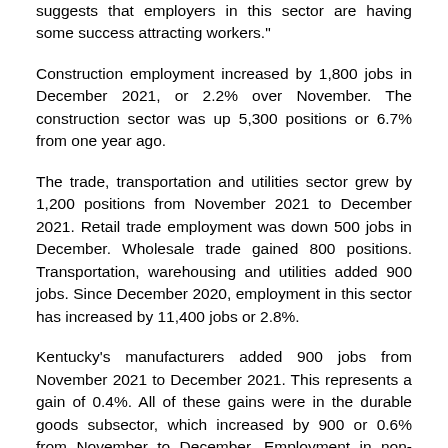suggests that employers in this sector are having some success attracting workers."
Construction employment increased by 1,800 jobs in December 2021, or 2.2% over November. The construction sector was up 5,300 positions or 6.7% from one year ago.
The trade, transportation and utilities sector grew by 1,200 positions from November 2021 to December 2021. Retail trade employment was down 500 jobs in December. Wholesale trade gained 800 positions. Transportation, warehousing and utilities added 900 jobs. Since December 2020, employment in this sector has increased by 11,400 jobs or 2.8%.
Kentucky's manufacturers added 900 jobs from November 2021 to December 2021. This represents a gain of 0.4%. All of these gains were in the durable goods subsector, which increased by 900 or 0.6% from November to December. Employment in non-durable goods did not change from November to December. Kentucky's manufacturing employment was up 8,300 positions or 3.4% since December 2020.